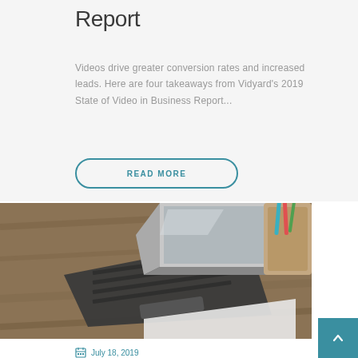Report
Videos drive greater conversion rates and increased leads. Here are four takeaways from Vidyard's 2019 State of Video in Business Report...
READ MORE
[Figure (photo): Photo of an open laptop on a wooden desk with a pencil holder in the background]
July 18, 2019
5 Social Media Blogs